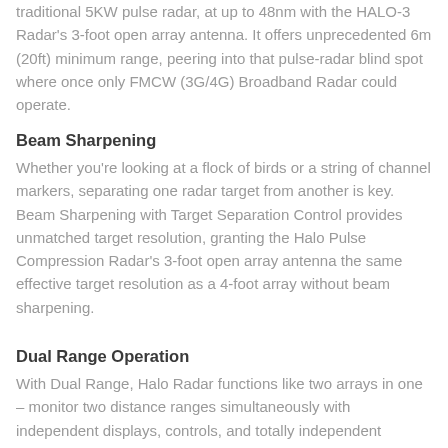traditional 5KW pulse radar, at up to 48nm with the HALO-3 Radar’s 3-foot open array antenna. It offers unprecedented 6m (20ft) minimum range, peering into that pulse-radar blind spot where once only FMCW (3G/4G) Broadband Radar could operate.
Beam Sharpening
Whether you’re looking at a flock of birds or a string of channel markers, separating one radar target from another is key. Beam Sharpening with Target Separation Control provides unmatched target resolution, granting the Halo Pulse Compression Radar’s 3-foot open array antenna the same effective target resolution as a 4-foot array without beam sharpening.
Dual Range Operation
With Dual Range, Halo Radar functions like two arrays in one – monitor two distance ranges simultaneously with independent displays, controls, and totally independent